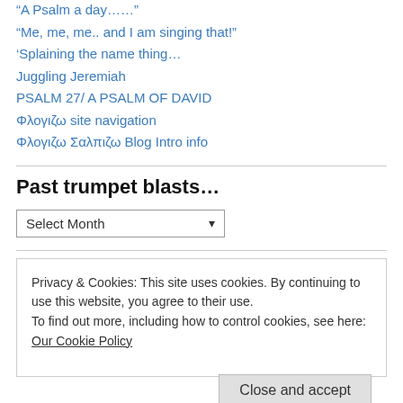“A Psalm a day……”
“Me, me, me.. and I am singing that!”
‘Splaining the name thing…
Juggling Jeremiah
PSALM 27/ A PSALM OF DAVID
Φλογιζω site navigation
Φλογιζω Σαλπιζω Blog Intro info
Past trumpet blasts…
Select Month
Privacy & Cookies: This site uses cookies. By continuing to use this website, you agree to their use.
To find out more, including how to control cookies, see here: Our Cookie Policy
Close and accept
“Bought & Sold” Riches Untold